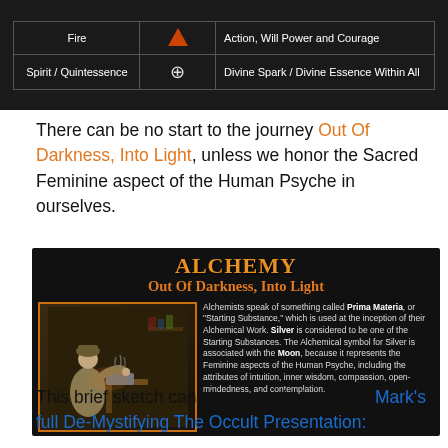[Figure (table-as-image): Table showing Fire with triangle symbol and Spirit/Quintessence with wheel symbol on dark background]
There can be no start to the journey Out Of Darkness, Into Light, unless we honor the Sacred Feminine aspect of the Human Psyche in ourselves.
[Figure (infographic): Alchemy infographic: title ALCHEMY Out Of Darkness, Into Light with alchemist illustration and text about Prima Materia and Silver]
This brief sketch can't begin to do justice to Mark's full De-Mystifying The Occult Presentation: